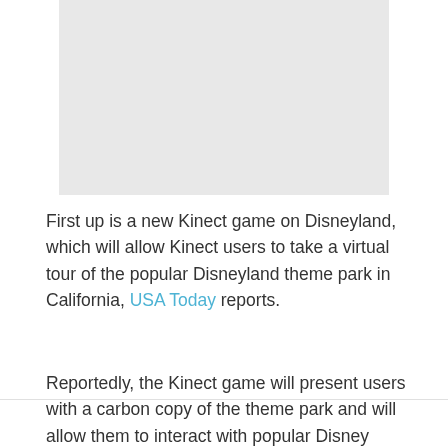[Figure (photo): Light gray rectangular image placeholder at top center of page]
First up is a new Kinect game on Disneyland, which will allow Kinect users to take a virtual tour of the popular Disneyland theme park in California, USA Today reports.
Reportedly, the Kinect game will present users with a carbon copy of the theme park and will allow them to interact with popular Disney characters like Mickey Mouse, Minni Mouse and Donald Duck, but users will be able to glide through the theme park instead of merely walking around.